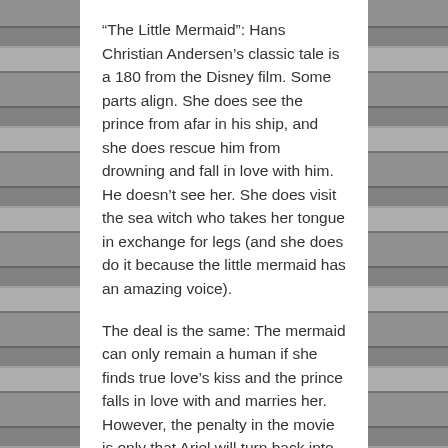“The Little Mermaid”: Hans Christian Andersen’s classic tale is a 180 from the Disney film. Some parts align. She does see the prince from afar in his ship, and she does rescue him from drowning and fall in love with him. He doesn’t see her. She does visit the sea witch who takes her tongue in exchange for legs (and she does do it because the little mermaid has an amazing voice).
The deal is the same: The mermaid can only remain a human if she finds true love’s kiss and the prince falls in love with and marries her. However, the penalty in the movie is only that Ariel will turn back into a mermaid if she fails. In the story